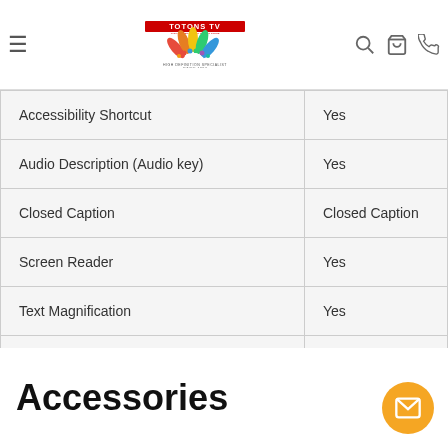TOTONS TV — High Definition Specialist Since 1967 (navigation header with logo)
| Feature | Value |
| --- | --- |
| Accessibility Shortcut | Yes |
| Audio Description (Audio key) | Yes |
| Closed Caption | Closed Caption |
| Screen Reader | Yes |
| Text Magnification | Yes |
| Voice Search | Yes |
Accessories